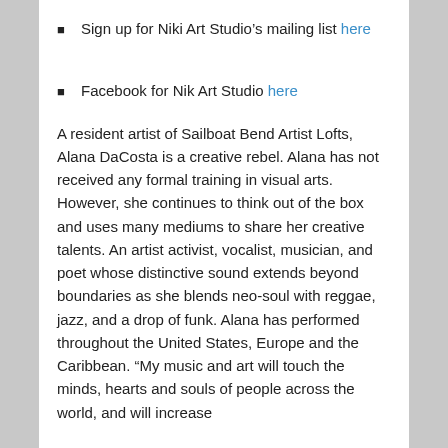Sign up for Niki Art Studio's mailing list here
Facebook for Nik Art Studio here
A resident artist of Sailboat Bend Artist Lofts, Alana DaCosta is a creative rebel. Alana has not received any formal training in visual arts. However, she continues to think out of the box and uses many mediums to share her creative talents. An artist activist, vocalist, musician, and poet whose distinctive sound extends beyond boundaries as she blends neo-soul with reggae, jazz, and a drop of funk. Alana has performed throughout the United States, Europe and the Caribbean. “My music and art will touch the minds, hearts and souls of people across the world, and will increase
one’s motivation for self-discovery, collective consciousness of one's purpose, and the desire to live life freely, without regrets.” says Alana, who also has a M.S. in Mental Health Counseling and understands the healing